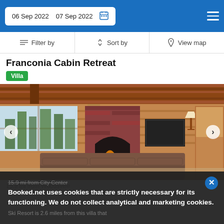06 Sep 2022   07 Sep 2022
Filter by   Sort by   View map
Franconia Cabin Retreat
Villa
[Figure (photo): Interior of a log cabin with wood-paneled walls and ceiling, brick fireplace, large sectional brown sofa, flat-screen TV, and floor-to-ceiling windows overlooking snowy trees.]
15.9 mi from Woodsville
15.9 mi from City Center
Ski Resort is 2.6 miles from this villa that
Booked.net uses cookies that are strictly necessary for its functioning. We do not collect analytical and marketing cookies.